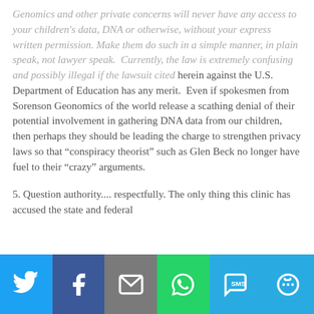Genomics and other private concerns will never have any access to your children's data, DNA or otherwise, without your express written permission. Make them do such in a simple manner, in plain speak, not lawyer speak.  Currently, the law is extremely confusing and possibly illegal if the lawsuit cited herein against the U.S. Department of Education has any merit.  Even if spokesmen from Sorenson Geonomics of the world release a scathing denial of their potential involvement in gathering DNA data from our children, then perhaps they should be leading the charge to strengthen privacy laws so that “conspiracy theorist” such as Glen Beck no longer have fuel to their “crazy” arguments.
5. Question authority.... respectfully. The only thing this clinic has accused the state and federal
[Figure (infographic): Social sharing bar with icons for Twitter, Facebook, Email, WhatsApp, SMS, and More]